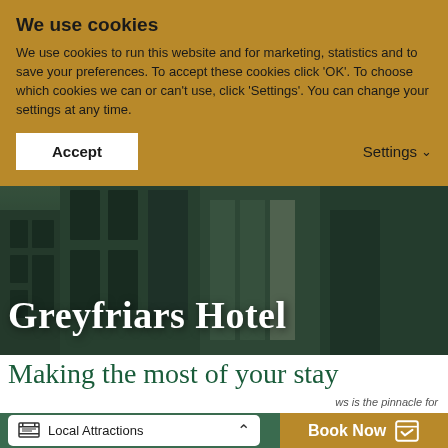We use cookies
We use cookies to run this website and for marketing, statistics and to save your preferences. To accept these cookies click 'OK'. To choose which cookies we can or can't use, click 'Settings'. You can change your settings at any time.
Accept
Settings
[Figure (photo): Hotel building facade with green-tinted windows and doors]
Greyfriars Hotel
Making the most of your stay
ws is the pinnacle for
Local Attractions
Book Now